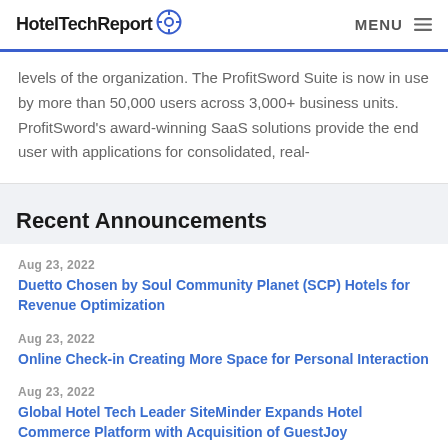HotelTechReport MENU
levels of the organization. The ProfitSword Suite is now in use by more than 50,000 users across 3,000+ business units. ProfitSword's award-winning SaaS solutions provide the end user with applications for consolidated, real-
Recent Announcements
Aug 23, 2022 — Duetto Chosen by Soul Community Planet (SCP) Hotels for Revenue Optimization
Aug 23, 2022 — Online Check-in Creating More Space for Personal Interaction
Aug 23, 2022 — Global Hotel Tech Leader SiteMinder Expands Hotel Commerce Platform with Acquisition of GuestJoy